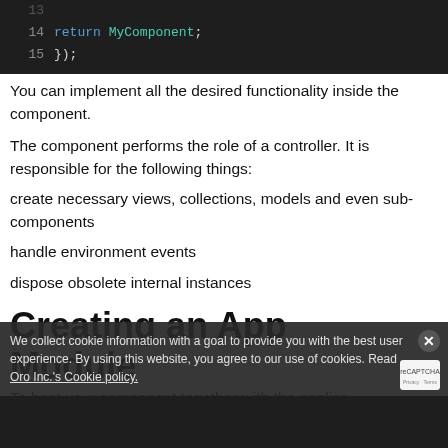[Figure (screenshot): Code editor showing lines 13-15 of JavaScript code: line 14 'return MyComponent;', line 15 '});']
You can implement all the desired functionality inside the component.
The component performs the role of a controller. It is responsible for the following things:
create necessary views, collections, models and even sub-components
handle environment events
dispose obsolete internal instances
Creating an App Module
To boot your component together with the applica you need to create an App Module:
We collect cookie information with a goal to provide you with the best user experience. By using this website, you agree to our use of cookies. Read Oro Inc.'s Cookie policy.
[Figure (screenshot): Bottom portion of a code block (dark background)]